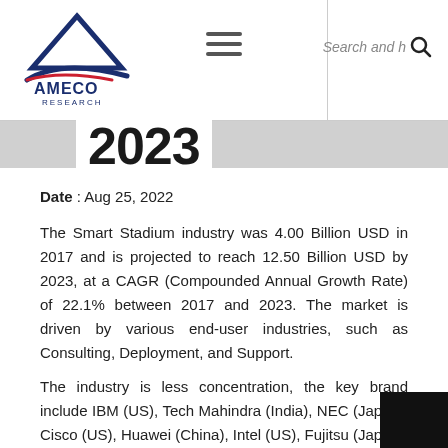AMECO RESEARCH | Search and help
2023
Date : Aug 25, 2022
The Smart Stadium industry was 4.00 Billion USD in 2017 and is projected to reach 12.50 Billion USD by 2023, at a CAGR (Compounded Annual Growth Rate) of 22.1% between 2017 and 2023. The market is driven by various end-user industries, such as Consulting, Deployment, and Support.
The industry is less concentration, the key brand include IBM (US), Tech Mahindra (India), NEC (Japan), Cisco (US), Huawei (China), Intel (US), Fujitsu (Japan), Johnson Controls (Ireland), NTT (Japan), Ericsson (Sweden), GP Smart Stadium (Netherlands), Centurlink (US), NXP Semiconductors (Netherlands), Vix Technology